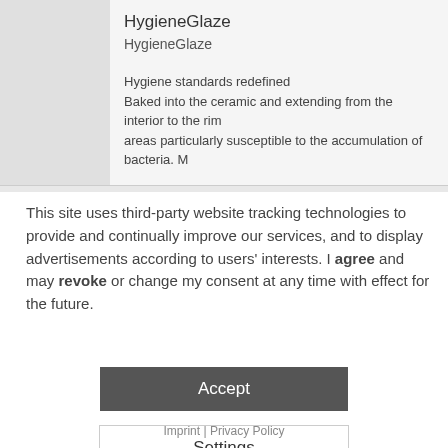HygieneGlaze
HygieneGlaze
Hygiene standards redefined
Baked into the ceramic and extending from the interior to the rim, areas particularly susceptible to the accumulation of bacteria. M... bacterial. HygieneGlaze inhibits the growth of bacteria ...
This site uses third-party website tracking technologies to provide and continually improve our services, and to display advertisements according to users' interests. I agree and may revoke or change my consent at any time with effect for the future.
Accept
Settings
Imprint | Privacy Policy